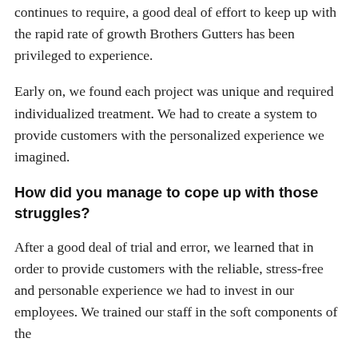continues to require, a good deal of effort to keep up with the rapid rate of growth Brothers Gutters has been privileged to experience.
Early on, we found each project was unique and required individualized treatment. We had to create a system to provide customers with the personalized experience we imagined.
How did you manage to cope up with those struggles?
After a good deal of trial and error, we learned that in order to provide customers with the reliable, stress-free and personable experience we had to invest in our employees. We trained our staff in the soft components of the